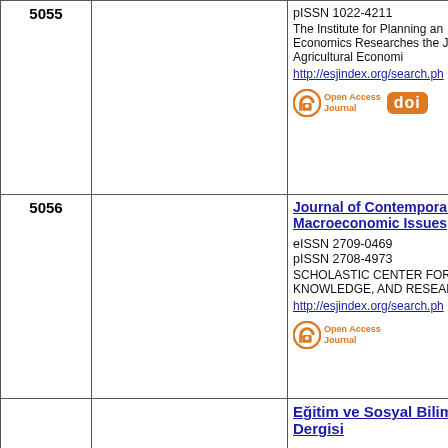| # | Details | Info |
| --- | --- | --- |
| 5055 |  | pISSN 1022-4211
The Institute for Planning and Economics Researches the J Agricultural Economi
http://esjindex.org/search.ph
[Open Access Journal] [doi] |
| 5056 |  | Journal of Contemporary Macroeconomic Issues
eISSN 2709-0469
pISSN 2708-4973
SCHOLASTIC CENTER FOR KNOWLEDGE, AND RESEAR
http://esjindex.org/search.ph
[Open Access Journal] |
|  |  | Eğitim ve Sosyal Bilimle Dergisi |